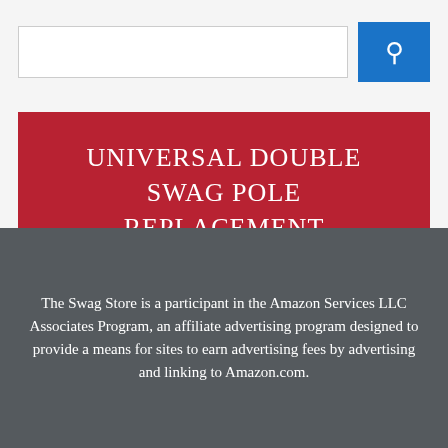[Figure (screenshot): Search bar with white input field and blue search button with magnifying glass icon]
UNIVERSAL DOUBLE SWAG POLE REPLACEMENT
The Swag Store is a participant in the Amazon Services LLC Associates Program, an affiliate advertising program designed to provide a means for sites to earn advertising fees by advertising and linking to Amazon.com.